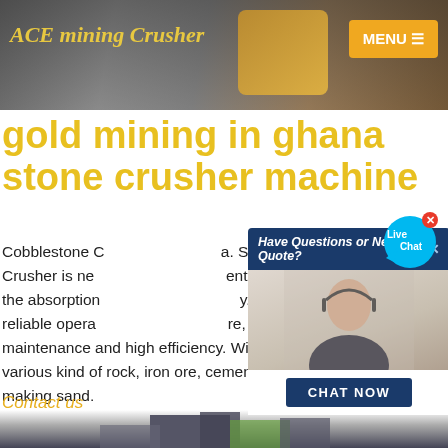ACE mining Crusher | MENU
[Figure (screenshot): Website header with background image of mining/stone machinery, ACE mining Crusher logo in italic gold text on left, MENU button in orange on right]
gold mining in ghana stone crusher machine
Cobblestone Crusher ... Stone Crusher is new ... ent based on the absorption ... y. With the reliable opera ... ure, easy maintenance and high efficiency. Widely used in crushing various kind of rock, iron ore, cement, and river stone and making sand.
[Figure (screenshot): Chat popup overlay showing: 'Have Questions or Need a Quote?' header in dark blue, a female customer service agent with headset, a CHAT NOW button, and a Live Chat bubble in the top right corner]
Contact us
[Figure (photo): Bottom strip showing industrial/mining building exterior]